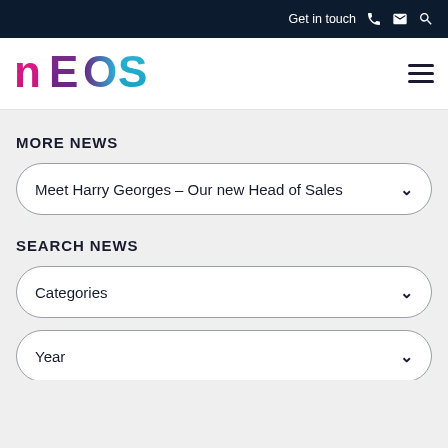Get in touch
[Figure (logo): NEOS logo with colorful letters: N in pink/magenta, E in purple, O in purple/blue gradient, S in cyan/blue]
MORE NEWS
Meet Harry Georges – Our new Head of Sales
SEARCH NEWS
Categories
Year